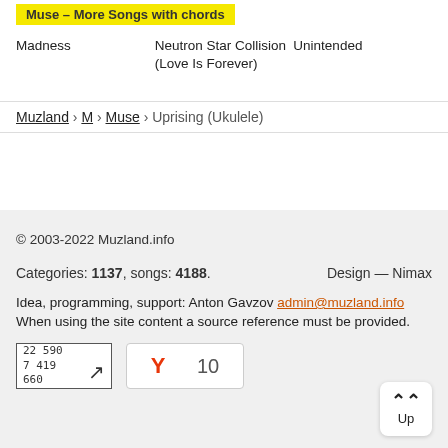Muse – More Songs with chords
Madness
Neutron Star Collision (Love Is Forever)
Unintended
Muzland › M › Muse › Uprising (Ukulele)
© 2003-2022 Muzland.info
Categories: 1137, songs: 4188.
Design — Nimax
Idea, programming, support: Anton Gavzov admin@muzland.info
When using the site content a source reference must be provided.
[Figure (other): Counter widget showing numbers 22590, 7419, 660 with diagonal arrow]
[Figure (other): Yandex widget showing Y logo and number 10]
[Figure (other): Up button with chevron arrows]